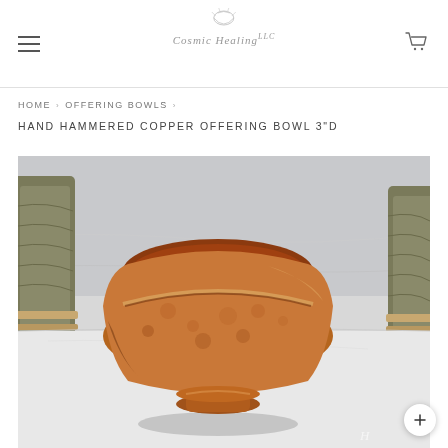Cosmic Healing LLC — navigation header with hamburger menu and cart icon
HOME › OFFERING BOWLS ›
HAND HAMMERED COPPER OFFERING BOWL 3"D
[Figure (photo): A shiny hand-hammered copper bowl with a pedestal base, photographed on a white marble surface. Sage smudge bundles are visible on the left and right sides of the bowl in the background.]